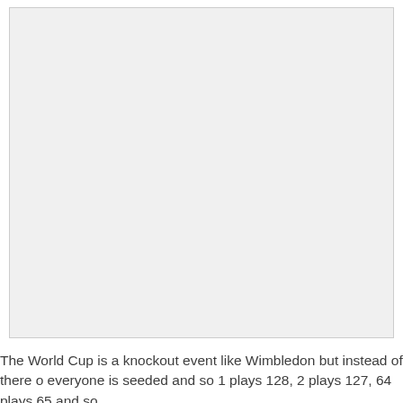[Figure (other): A large blank/empty chart or figure area with a light gray background and thin border, appearing to be a placeholder or a figure that is mostly off-screen.]
The World Cup is a knockout event like Wimbledon but instead of there o everyone is seeded and so 1 plays 128, 2 plays 127, 64 plays 65 and so